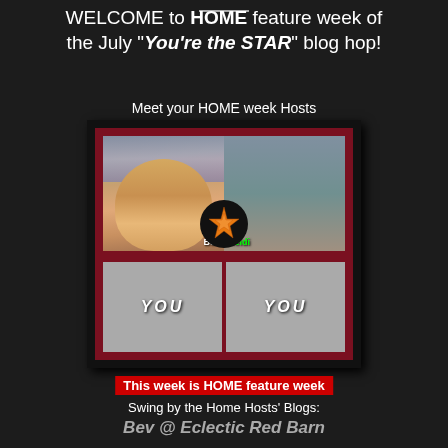WELCOME to HOME feature week of the July "You're the STAR" blog hop!
Meet your HOME week Hosts
[Figure (photo): Composite image showing two host photos (Bev and Heidi) side by side with two gray placeholder boxes labeled YOU, and a central orange star on black circle badge]
This week is HOME feature week
Swing by the Home Hosts' Blogs:
Bev @ Eclectic Red Barn